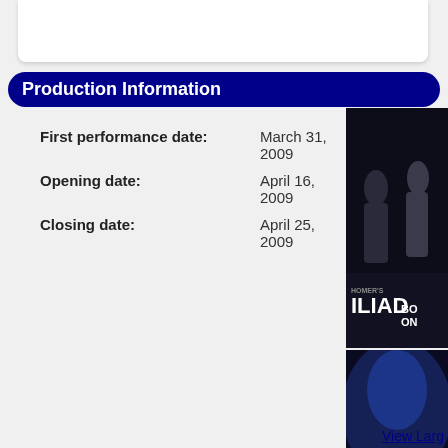Production Information
First performance date: March 31, 2009
Opening date: April 16, 2009
Closing date: April 25, 2009
[Figure (photo): Theater performance photo showing actors on stage with ILIAD text visible]
[Figure (photo): Theater performance photo with blue lighting showing performer]
[Figure (photo): Theater performance photo showing multiple actors in dramatic pose]